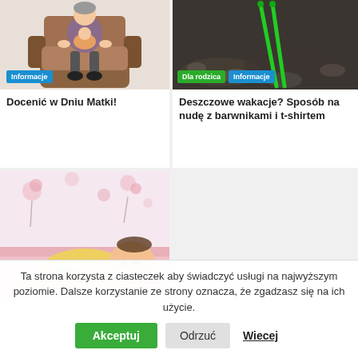[Figure (illustration): Cartoon illustration of a grandmother/mother figure sitting in a brown armchair, wearing dark pants and shoes, with a child's figure visible. Tag 'Informacje' shown at bottom left of image.]
Docenić w Dniu Matki!
[Figure (photo): Photo of green knitting needles or craft tools on a dark ground/dirt background. Tags 'Dla rodzica' and 'Informacje' shown at bottom of image.]
Deszczowe wakacje? Sposób na nudę z barwnikami i t-shirtem
[Figure (photo): Photo of a small toddler/baby in a yellow shirt lying on a pink surface with floral background (pink flowers).]
Ta strona korzysta z ciasteczek aby świadczyć usługi na najwyższym poziomie. Dalsze korzystanie ze strony oznacza, że zgadzasz się na ich użycie.
Akceptuj
Odrzuć
Wiecej